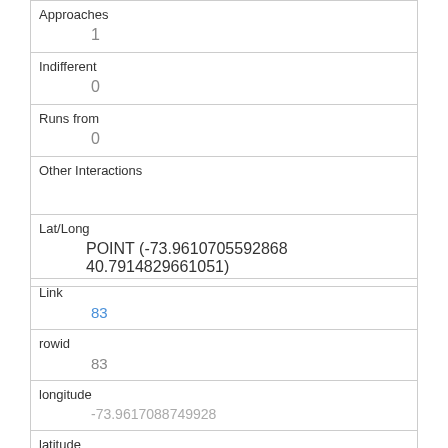| Approaches | 1 |
| Indifferent | 0 |
| Runs from | 0 |
| Other Interactions |  |
| Lat/Long | POINT (-73.9610705592868 40.7914829661051) |
| Link | 83 |
| rowid | 83 |
| longitude | -73.9617088749928 |
| latitude | 40.7944585082367 |
| Unique Squirrel ID | 25A-PM-1013-06 |